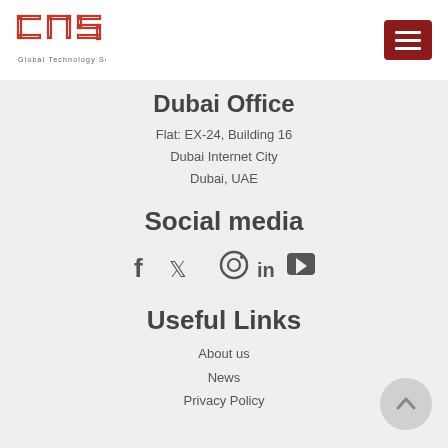[Figure (logo): GTS Global Technology Solutions logo — red outlined rectangular bracket shapes forming 'GTS' with text 'Global Technology Solutions' below]
[Figure (other): Dark red hamburger menu button (three white horizontal lines on dark red background)]
Dubai Office
Flat: EX-24, Building 16
Dubai Internet City
Dubai, UAE
Social media
[Figure (other): Social media icons row: Facebook (f), Twitter (bird), Instagram (camera circle), LinkedIn (in), YouTube (play button rectangle)]
Useful Links
About us
News
Privacy Policy